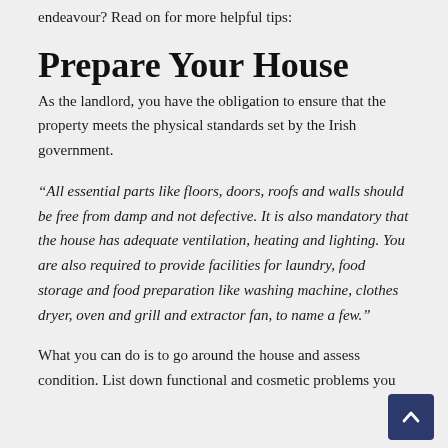endeavour? Read on for more helpful tips:
Prepare Your House
As the landlord, you have the obligation to ensure that the property meets the physical standards set by the Irish government.
“All essential parts like floors, doors, roofs and walls should be free from damp and not defective. It is also mandatory that the house has adequate ventilation, heating and lighting. You are also required to provide facilities for laundry, food storage and food preparation like washing machine, clothes dryer, oven and grill and extractor fan, to name a few.”
What you can do is to go around the house and assess condition. List down functional and cosmetic problems you